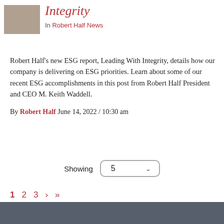[Figure (photo): Small photo of people, partially visible at top-left corner]
Integrity
In Robert Half News
Robert Half’s new ESG report, Leading With Integrity, details how our company is delivering on ESG priorities. Learn about some of our recent ESG accomplishments in this post from Robert Half President and CEO M. Keith Waddell.
By Robert Half June 14, 2022 / 10:30 am
Showing 5
1 2 3 › »